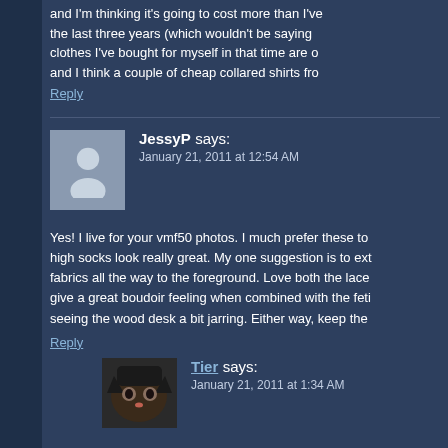and I'm thinking it's going to cost more than I've spent on clothes in the last three years (which wouldn't be saying much, as the only clothes I've bought for myself in that time are one wedding dress and I think a couple of cheap collared shirts fro
Reply
JessyP says:
January 21, 2011 at 12:54 AM
Yes! I live for your vmf50 photos. I much prefer these to high socks look really great. My one suggestion is to ext fabrics all the way to the foreground. Love both the lace give a great boudoir feeling when combined with the feti seeing the wood desk a bit jarring. Either way, keep the
Reply
Tier says:
January 21, 2011 at 1:34 AM